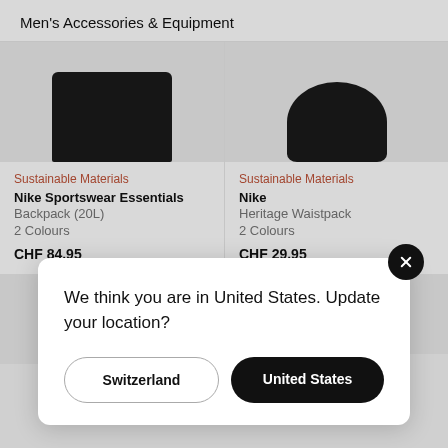Men's Accessories & Equipment
[Figure (photo): Black backpack product image cropped]
Sustainable Materials
Nike Sportswear Essentials
Backpack (20L)
2 Colours
CHF 84.95
[Figure (photo): Black waistpack product image cropped]
Sustainable Materials
Nike
Heritage Waistpack
2 Colours
CHF 29.95
[Figure (screenshot): Location update modal dialog with Switzerland and United States buttons]
We think you are in United States. Update your location?
Switzerland
United States